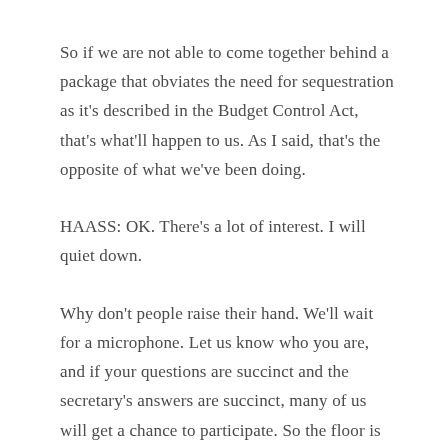So if we are not able to come together behind a package that obviates the need for sequestration as it's described in the Budget Control Act, that's what'll happen to us. As I said, that's the opposite of what we've been doing.
HAASS: OK. There's a lot of interest. I will quiet down.
Why don't people raise their hand. We'll wait for a microphone. Let us know who you are, and if your questions are succinct and the secretary's answers are succinct, many of us will get a chance to participate. So the floor is open.